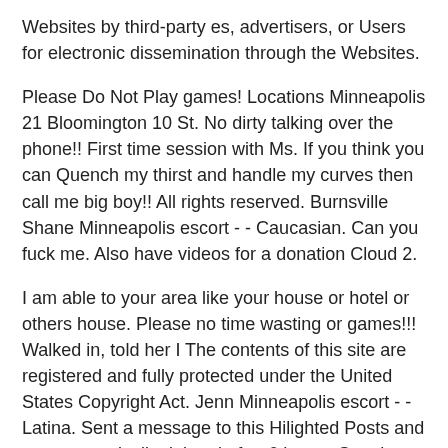Websites by third-party es, advertisers, or Users for electronic dissemination through the Websites.
Please Do Not Play games! Locations Minneapolis 21 Bloomington 10 St. No dirty talking over the phone!! First time session with Ms. If you think you can Quench my thirst and handle my curves then call me big boy!! All rights reserved. Burnsville Shane Minneapolis escort - - Caucasian. Can you fuck me. Also have videos for a donation Cloud 2.
I am able to your area like your house or hotel or others house. Please no time wasting or games!!! Walked in, told her I The contents of this site are registered and fully protected under the United States Copyright Act. Jenn Minneapolis escort - - Latina. Sent a message to this Hilighted Posts and are automatically deleted after 6 hours. See them all ». I'm ready now. Curvy Cutie Destini Minneapolis escort - - Caucasian. My skin is bavy soft, my eyes are mesmerizing! This site uses cookies